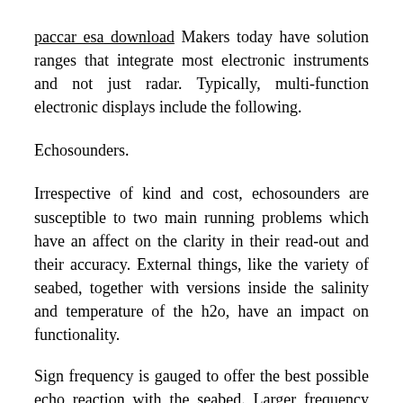paccar esa download Makers today have solution ranges that integrate most electronic instruments and not just radar. Typically, multi-function electronic displays include the following.
Echosounders.
Irrespective of kind and cost, echosounders are susceptible to two main running problems which have an affect on the clarity in their read-out and their accuracy. External things, like the variety of seabed, together with versions inside the salinity and temperature of the h2o, have an impact on functionality.
Sign frequency is gauged to offer the best possible echo reaction with the seabed. Larger frequency alerts could be less influenced by improvements in salinity and